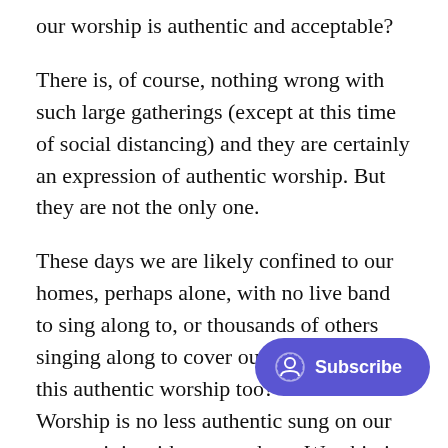our worship is authentic and acceptable?
There is, of course, nothing wrong with such large gatherings (except at this time of social distancing) and they are certainly an expression of authentic worship. But they are not the only one.
These days we are likely confined to our homes, perhaps alone, with no live band to sing along to, or thousands of others singing along to cover our bad notes. Is this authentic worship too? Yes it is. Worship is no less authentic sung on our own as it is with many others. Worship is authentic in the big gathering and in the solo experience. Worship is auth... sound system and in the silence of o... s authentic when God's praise is sung while doing the
[Figure (other): Subscribe button overlay with circular user icon and text 'Subscribe' on a purple/indigo rounded rectangle background]